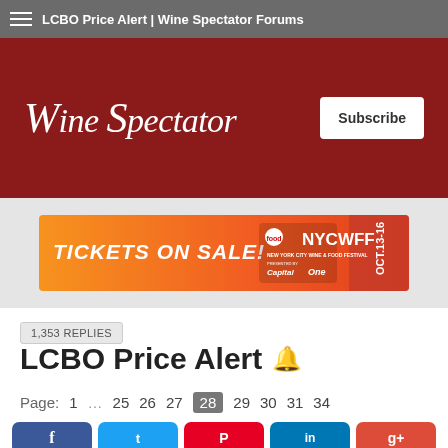LCBO Price Alert | Wine Spectator Forums
[Figure (logo): Wine Spectator logo on dark red background with Subscribe button]
[Figure (infographic): NYCWFF advertisement banner: TICKETS ON SALE! New York City Wine & Food Festival, Oct.13-16, presented by Capital One]
1,353 REPLIES
LCBO Price Alert
Page: 1 … 25 26 27 28 29 30 31 34
[Figure (infographic): Social media sharing buttons: Facebook, Twitter, Pinterest, LinkedIn, Google+]